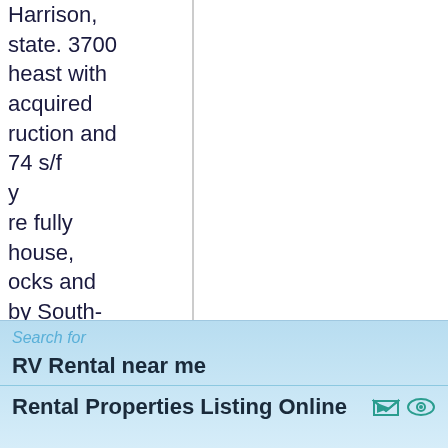Harrison, state. 3700 heast with acquired ruction and 74 s/f y re fully house, ocks and by South- 21 North is nfacturing MENTS ••• Apartments, nily nd an eet and was le property
Search for
RV Rental near me
Rental Properties Listing Online